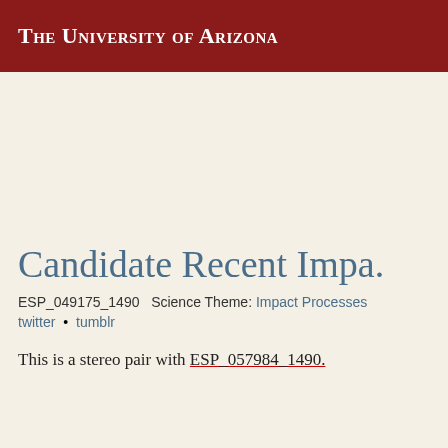The University of Arizona
Candidate Recent Impa.
ESP_049175_1490  Science Theme: Impact Processes
twitter • tumblr
This is a stereo pair with ESP_057984_1490.